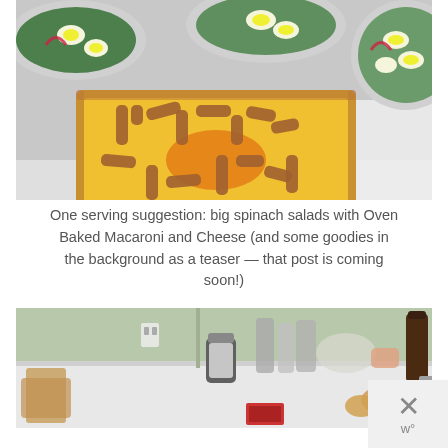[Figure (photo): Photo of a baking dish with macaroni and cheese topped with sausages arranged in letter shapes, alongside plates of spinach salad with hard-boiled eggs and red onion, on a white table.]
One serving suggestion: big spinach salads with Oven Baked Macaroni and Cheese (and some goodies in the background as a teaser — that post is coming soon!)
[Figure (photo): Photo of a kitchen counter with various jars, spice containers, a bag, rolls, and a bottle of liquid, against a light green wall.]